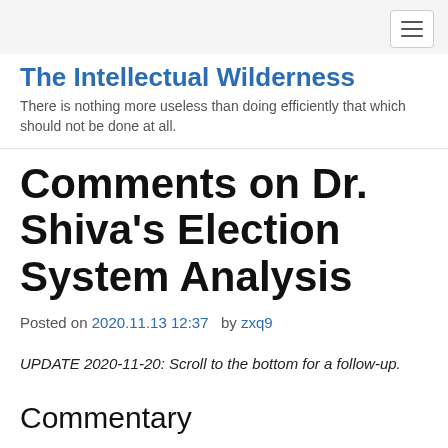The Intellectual Wilderness — There is nothing more useless than doing efficiently that which should not be done at all.
Comments on Dr. Shiva's Election System Analysis
Posted on 2020.11.13 12:37   by zxq9
UPDATE 2020-11-20: Scroll to the bottom for a follow-up.
Commentary
Dr. Shiva performed a data analysis on the automated